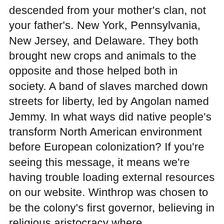descended from your mother's clan, not your father's. New York, Pennsylvania, New Jersey, and Delaware. They both brought new crops and animals to the opposite and those helped both in society. A band of slaves marched down streets for liberty, led by Angolan named Jemmy. In what ways did native people's transform North American environment before European colonization? If you're seeing this message, it means we're having trouble loading external resources on our website. Winthrop was chosen to be the colony's first governor, believing in religious aristocracy where representatives served for life as opposed to a democracy. And all goods destined for colonies would pass through England. Other Indian tribes joined. Consequences of Exploration for Europeans and the Indigenous Peoples. At the time of first contact between Europeans and Native Americans, Native Americans had developed? One of America's earliest and most enduring legends is the story of Thanksgiving: that Pilgrims who had migrated to the new Plymouth